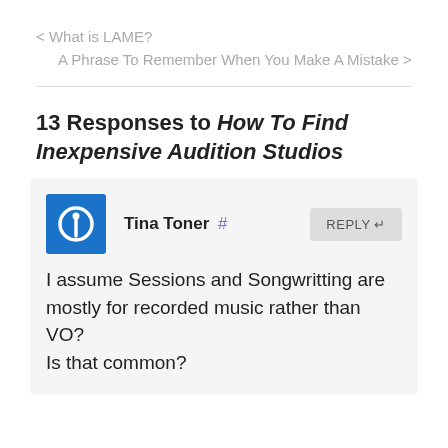< What is LAME?
A Phrase To Remember When You Make A Mistake >
13 Responses to How To Find Inexpensive Audition Studios
Tina Toner #
I assume Sessions and Songwritting are mostly for recorded music rather than VO?
Is that common?